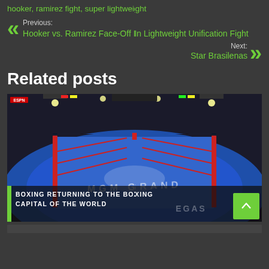hooker, ramirez fight, super lightweight
Previous:
Hooker vs. Ramirez Face-Off In Lightweight Unification Fight
Next:
Star Brasilenas
Related posts
[Figure (photo): Interior of MGM Grand boxing arena showing the blue-matted boxing ring with MGM Grand lion logo, red ropes, and arena lighting overhead. Text overlay reads: BOXING RETURNING TO THE BOXING CAPITAL OF THE WORLD]